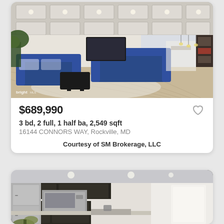[Figure (photo): Interior photo of a modern living room with blue velvet sofas, coffered ceiling, recessed lighting, and open floor plan leading to kitchen]
$689,990
3 bd, 2 full, 1 half ba, 2,549 sqft
16144 CONNORS WAY, Rockville, MD
Courtesy of SM Brokerage, LLC
[Figure (photo): Interior photo of a modern kitchen with dark cabinets, stainless steel appliances, recessed lighting, and white walls]